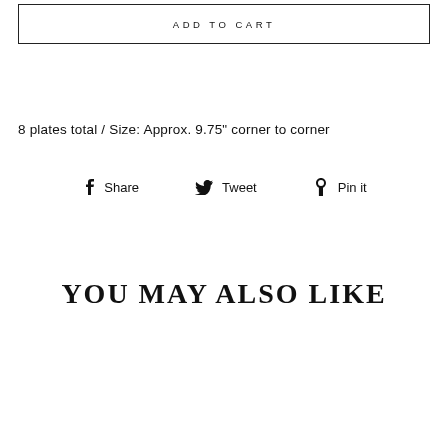ADD TO CART
8 plates total / Size: Approx. 9.75" corner to corner
Share  Tweet  Pin it
YOU MAY ALSO LIKE